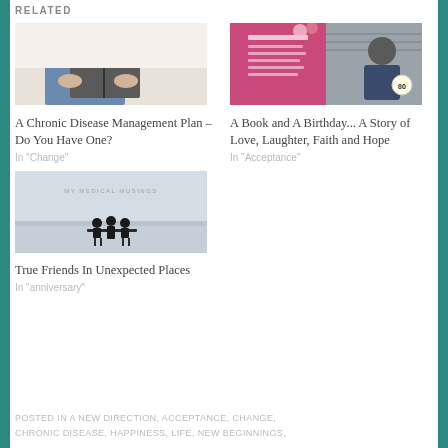Related
[Figure (photo): Person holding a book/journal, reading – photo for chronic disease article]
A Chronic Disease Management Plan – Do You Have One?
In "Change"
[Figure (photo): Pink birthday celebration graphic with a man standing next to it – photo for birthday story article]
A Book and A Birthday... A Story of Love, Laughter, Faith and Hope
In "Acceptance"
[Figure (photo): Group of people sitting at a table outdoors in a foggy/misty landscape – photo for true friends article, with MY MEDICAL MUSINGS watermark]
True Friends In Unexpected Places
In "anniversary"
POSTED IN A NEW DIRECTION, ACCEPTANCE, CHANGE, CHRONIC DISEASE, HAPPINESS, LIFE, NEW BEGINNINGS,